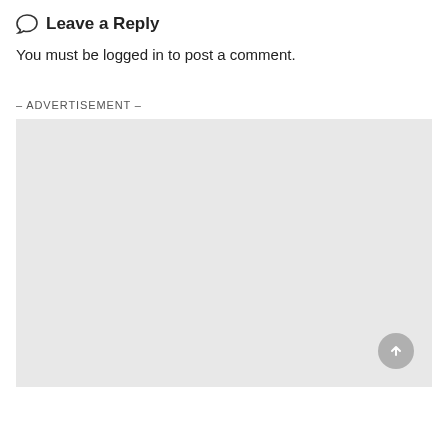Leave a Reply
You must be logged in to post a comment.
– ADVERTISEMENT –
[Figure (other): Grey advertisement placeholder box with a scroll-to-top button in the bottom right corner]